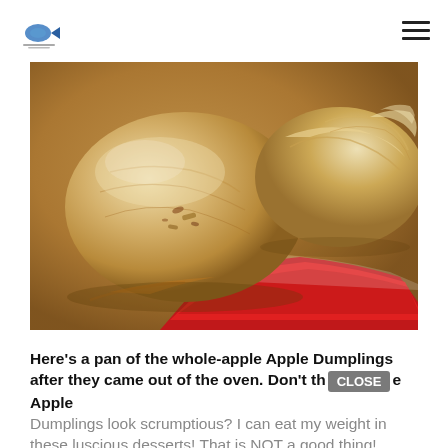[Logo] Can't Stay Out of the Kitchen | [hamburger menu]
[Figure (photo): Close-up photo of whole-apple Apple Dumplings in a red baking dish, showing golden-brown pastry dough wrapped around apples, freshly out of the oven.]
Here's a pan of the whole-apple Apple Dumplings after they came out of the oven. Don't the Apple Dumplings look scrumptious? I can eat my weight in these luscious desserts! That is NOT a good thing!